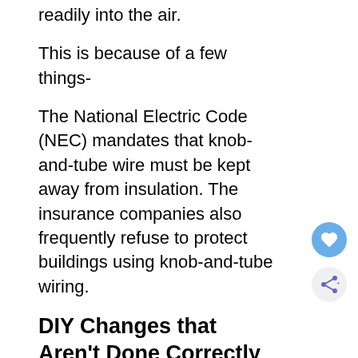readily into the air.
This is because of a few things-
The National Electric Code (NEC) mandates that knob-and-tube wire must be kept away from insulation. The insurance companies also frequently refuse to protect buildings using knob-and-tube wiring.
DIY Changes that Aren't Done Correctly
Knob-and-tube wiring is the most commonly encountered risky DIY modification of all